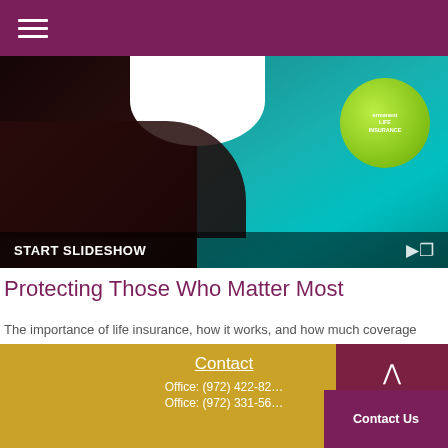Navigation menu (hamburger icon)
[Figure (photo): Slideshow image showing a tablet with a green apple life insurance logo on teal background and dark background with hand, with 'START SLIDESHOW' text overlay at bottom]
Protecting Those Who Matter Most
The importance of life insurance, how it works, and how much coverage you need.
Contact
Office: (972) 422-82...
Office: (972) 331-56...
Contact Us